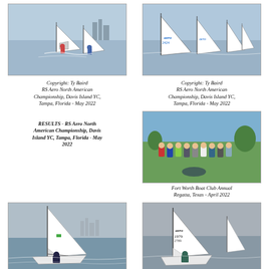[Figure (photo): Two sailors racing on RS Aero dinghies on open water]
[Figure (photo): Fleet of RS Aero sailboats racing with aero branding visible]
Copyright: Ty Baird RS Aero North American Championship, Davis Island YC, Tampa, Florida - May 2022
Copyright: Ty Baird RS Aero North American Championship, Davis Island YC, Tampa, Florida - May 2022
RESULTS - RS Aero North American Championship, Davis Island YC, Tampa, Florida - May 2022
[Figure (photo): Group photo of sailors standing on grass at Fort Worth Boat Club]
Fort Worth Boat Club Annual Regatta, Texas - April 2022
[Figure (photo): Single RS Aero sailor on choppy water with city skyline in background]
[Figure (photo): RS Aero sailboat numbered 2789 and 1979 sailing on grey water]
Copyright: Susan Burden
Copyright: Susan Burden